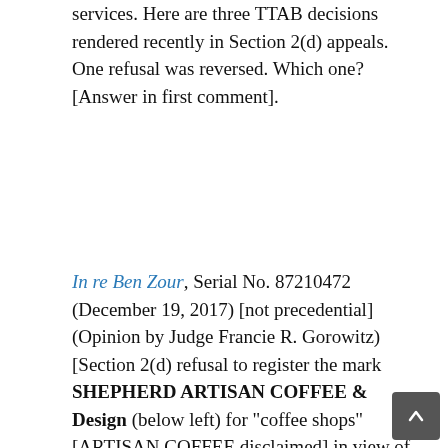services. Here are three TTAB decisions rendered recently in Section 2(d) appeals. One refusal was reversed. Which one? [Answer in first comment].
In re Ben Zour, Serial No. 87210472 (December 19, 2017) [not precedential] (Opinion by Judge Francie R. Gorowitz) [Section 2(d) refusal to register the mark SHEPHERD ARTISAN COFFEE & Design (below left) for "coffee shops" [ARTISAN COFFEE disclaimed] in view of the registered marks SHEPHARD'S BEACH RESORT in standard character form, and SHEPARD'S BEACH RESORT & Design (below right) [BEACH RESORT disclaimed], for "hotel services and restaurant services"].